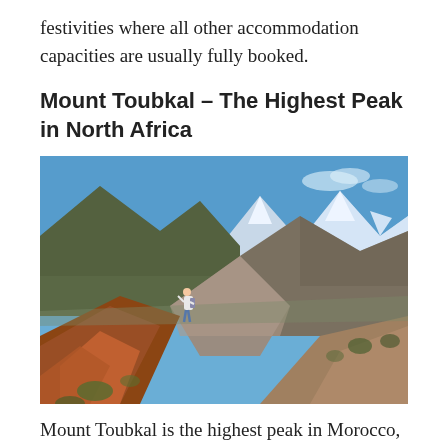festivities where all other accommodation capacities are usually fully booked.
Mount Toubkal – The Highest Peak in North Africa
[Figure (photo): A hiker stands on a rocky ridge overlooking a vast mountain valley with snow-capped peaks in the distance under a blue sky. The foreground shows reddish rocky terrain with sparse vegetation, and the background reveals brown arid mountain slopes and white-capped peaks. This is Mount Toubkal in Morocco.]
Mount Toubkal is the highest peak in Morocco, at